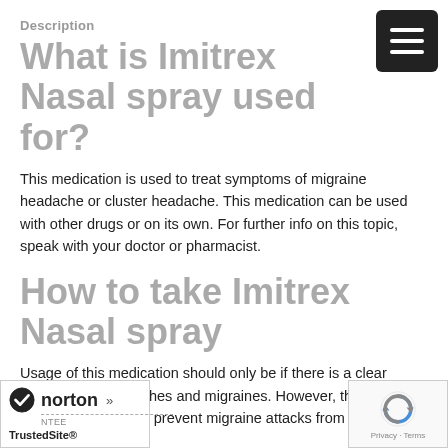Description
What is Imitrex Nasal spray used for?
This medication is used to treat symptoms of migraine headache or cluster headache. This medication can be used with other drugs or on its own. For further info on this topic, speak with your doctor or pharmacist.
How to take Imitrex Nasal spray
Usage of this medication should only be if there is a clear diagnosis of headaches and migraines. However, this medication does not prevent migraine attacks from happening.
Imitrex Nasal spray dosage will depend on your ent response and your medical history. Take